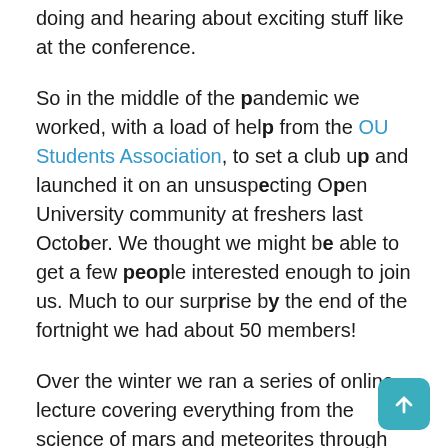doing and hearing about exciting stuff like at the conference.
So in the middle of the pandemic we worked, with a load of help from the OU Students Association, to set a club up and launched it on an unsuspecting Open University community at freshers last October. We thought we might be able to get a few people interested enough to join us. Much to our surprise by the end of the fortnight we had about 50 members!
Over the winter we ran a series of online lecture covering everything from the science of mars and meteorites through the history of spaceflight to law and geopolitics in space and watched as our membership grew and grew to over 300 today.
And onto today, Saturday 6th March 2021, it's the National Student Space Conference again - all